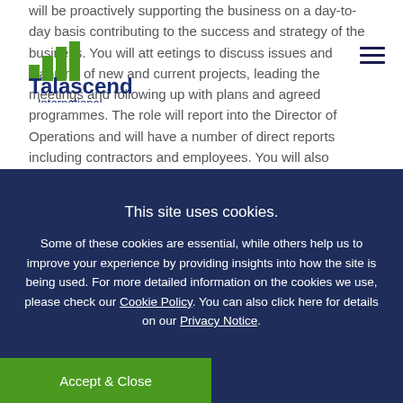[Figure (logo): Talascend International logo with green bar chart icon and blue text]
will be proactively supporting the business on a day-to-day basis contributing to the success and strategy of the business. You will attend meetings to discuss issues and planning of new and current projects, leading the meetings and following up with plans and agreed programmes. The role will report into the Director of Operations and will have a number of direct reports including contractors and employees. You will also support other Senior Managers on projects within the business. You will work closely with other departments, such as Quality Assurance, Support and the Development Team, to help
This site uses cookies.
Some of these cookies are essential, while others help us to improve your experience by providing insights into how the site is being used. For more detailed information on the cookies we use, please check our Cookie Policy. You can also click here for details on our Privacy Notice.
Accept & Close